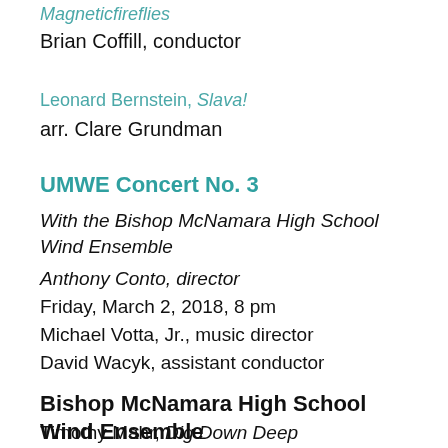Magneticfireflies
Brian Coffill, conductor
Leonard Bernstein, Slava!
arr. Clare Grundman
UMWE Concert No. 3
With the Bishop McNamara High School Wind Ensemble
Anthony Conto, director
Friday, March 2, 2018, 8 pm
Michael Votta, Jr., music director
David Wacyk, assistant conductor
Bishop McNamara High School Wind Ensemble
Timothy Mahr, Dig Down Deep